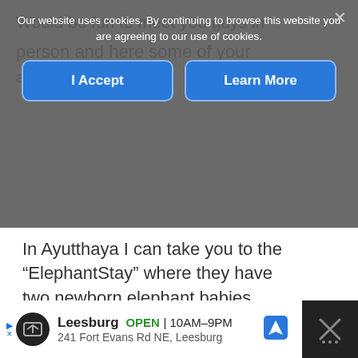Would be fun to meet you guys in person and here some of your around.
[Figure (screenshot): Cookie consent overlay with 'I Accept' and 'Learn More' buttons on a dark semi-transparent background]
In Ayutthaya I can take you to the "ElephantStay" where they have two newborn elephant babies currently...much fun.

Have fun in Myanmar!

cheers...claude 😀
[Figure (screenshot): Advertisement bar at the bottom: Leesburg OPEN 10AM-9PM, 241 Fort Evans Rd NE, Leesburg with navigation icon]